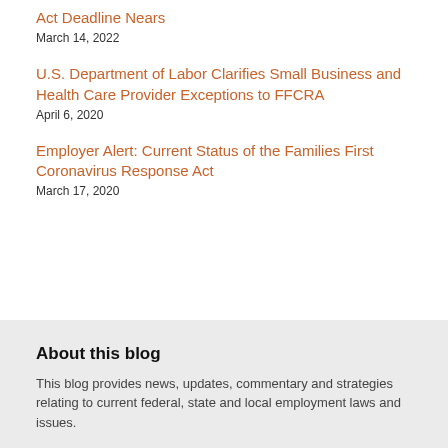Act Deadline Nears
March 14, 2022
U.S. Department of Labor Clarifies Small Business and Health Care Provider Exceptions to FFCRA
April 6, 2020
Employer Alert: Current Status of the Families First Coronavirus Response Act
March 17, 2020
About this blog
This blog provides news, updates, commentary and strategies relating to current federal, state and local employment laws and issues.